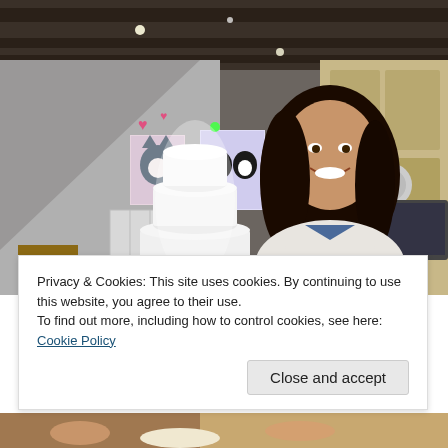[Figure (photo): A woman with long dark hair smiling next to a tall multi-tiered white cake in a room with dark wooden beams on the ceiling, wall art featuring cats and hearts, a white radiator, and wooden furniture.]
Privacy & Cookies: This site uses cookies. By continuing to use this website, you agree to their use.
To find out more, including how to control cookies, see here: Cookie Policy
Close and accept
[Figure (photo): Partial view of a photo at the bottom of the page, showing hands and what appears to be food or a cake on a surface.]